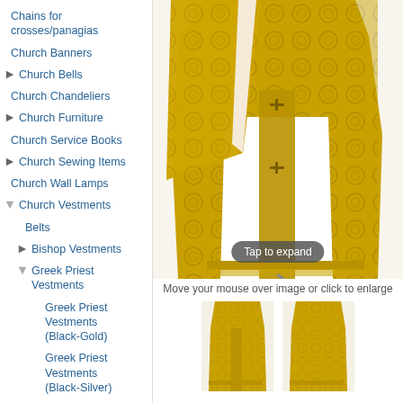Chains for crosses/panagias
Church Banners
Church Bells
Church Chandeliers
Church Furniture
Church Service Books
Church Sewing Items
Church Wall Lamps
Church Vestments
Belts
Bishop Vestments
Greek Priest Vestments
Greek Priest Vestments (Black-Gold)
Greek Priest Vestments (Black-Silver)
Greek Priest Vestments (Blue-Gold)
Greek Priest Vestments
[Figure (photo): Gold Greek Orthodox Priest Vestments displayed on a mannequin, shown from front with ornate golden brocade pattern and white undergarment. Includes a 'Tap to expand' badge overlay.]
Move your mouse over image or click to enlarge
[Figure (photo): Two thumbnail views of the same gold Greek Priest Vestments, showing front and back.]